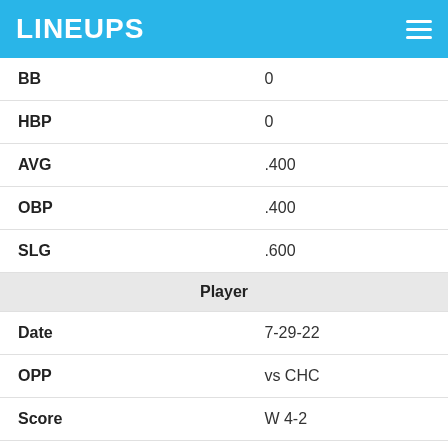LINEUPS
| Stat | Value |
| --- | --- |
| BB | 0 |
| HBP | 0 |
| AVG | .400 |
| OBP | .400 |
| SLG | .600 |
| Player |  |
| Date | 7-29-22 |
| OPP | vs CHC |
| Score | W 4-2 |
| OPPOSING SP | Justin Steele |
| Fantasy Points |  |
| FPTS | 7.8 |
| FPTS/AB | 7.8 |